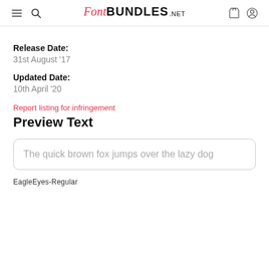FontBUNDLES.NET
Release Date:
31st August '17
Updated Date:
10th April '20
Report listing for infringement
Preview Text
The quick brown fox jumps over the lazy dog
EagleEyes-Regular